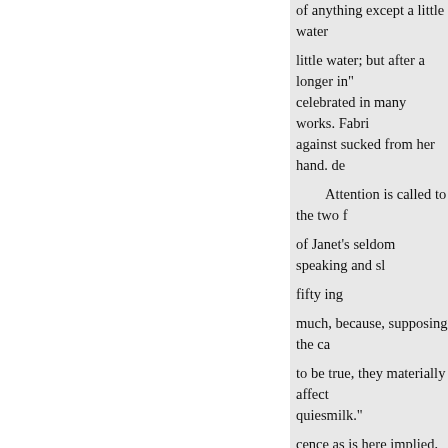of anything except a little water little water; but after a longer in" celebrated in many works. Fabri against sucked from her hand. de Attention is called to the two f of Janet's seldom speaking and sl fifty ing much, because, supposing the ca to be true, they materially affect quiesmilk." cence as is here implied, the was minithere has been deception in s of the marvellous would be mini present state of Physiology, I we authentic. Every year such cases invited me to visit a woman of fi bottom of this as of all similar in taken no cases; and until a case free from